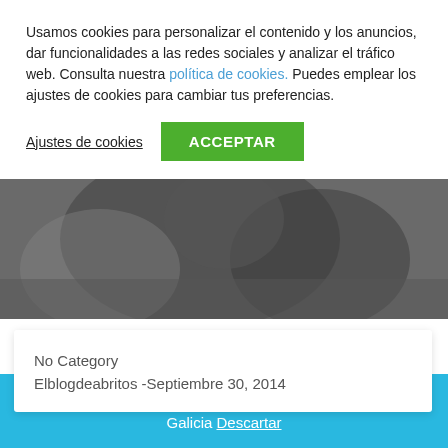Usamos cookies para personalizar el contenido y los anuncios, dar funcionalidades a las redes sociales y analizar el tráfico web. Consulta nuestra política de cookies. Puedes emplear los ajustes de cookies para cambiar tus preferencias.
Ajustes de cookies
ACCEPTAR
[Figure (photo): Grayscale photo of a person, partially visible, dark tones]
No Category
Elblogdeabritos -Septiembre 30, 2014
Envíos gratuitos por compras superiores a 30 €, sólo en Galicia Descartar